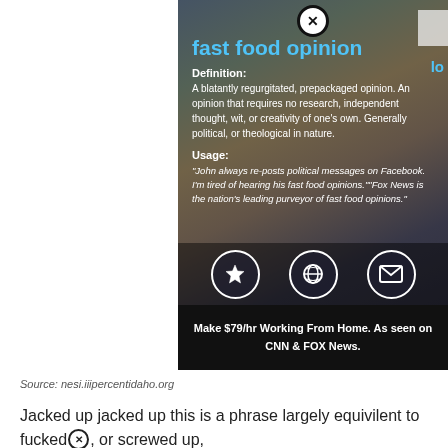[Figure (screenshot): Mobile app screenshot showing a definition entry for 'fast food opinion' with a dark semi-transparent background over a street photo. Shows title in blue, Definition and Usage labels in white bold, definition text, usage examples in italic, three icon buttons (star, Internet Explorer, mail), and an ad bar at bottom reading 'Make $79/hr Working From Home. As seen on CNN & FOX News.']
Source: nesi.iiipercentidaho.org
Jacked up jacked up this is a phrase largely equivilent to fucked or screwed up,